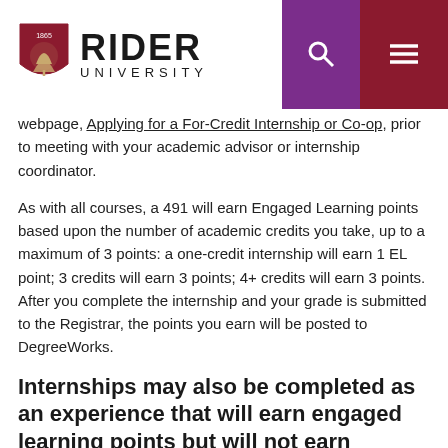Rider University
webpage, Applying for a For-Credit Internship or Co-op, prior to meeting with your academic advisor or internship coordinator.
As with all courses, a 491 will earn Engaged Learning points based upon the number of academic credits you take, up to a maximum of 3 points: a one-credit internship will earn 1 EL point; 3 credits will earn 3 points; 4+ credits will earn 3 points. After you complete the internship and your grade is submitted to the Registrar, the points you earn will be posted to DegreeWorks.
Internships may also be completed as an experience that will earn engaged learning points but will not earn